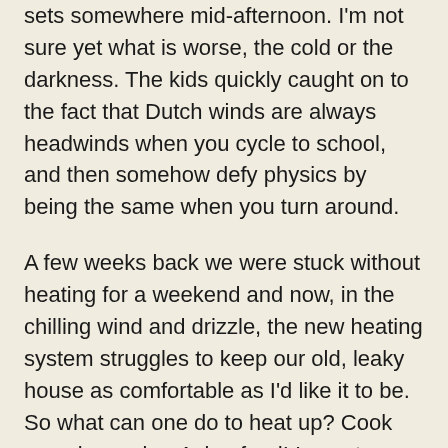sets somewhere mid-afternoon. I'm not sure yet what is worse, the cold or the darkness. The kids quickly caught on to the fact that Dutch winds are always headwinds when you cycle to school, and then somehow defy physics by being the same when you turn around.
A few weeks back we were stuck without heating for a weekend and now, in the chilling wind and drizzle, the new heating system struggles to keep our old, leaky house as comfortable as I'd like it to be. So what can one do to heat up? Cook warming, spicy, Asian food! I spent our last year in Singapore painstakingly noting down recipes for Indah's amazing Indonesian food, and when we miss her, miss the sunshine, we cook it and warm our chilly guts. I get many requests to share Indah's recipes - her cooking was famous amongst family and friends, and not without reason: her food is amazing.